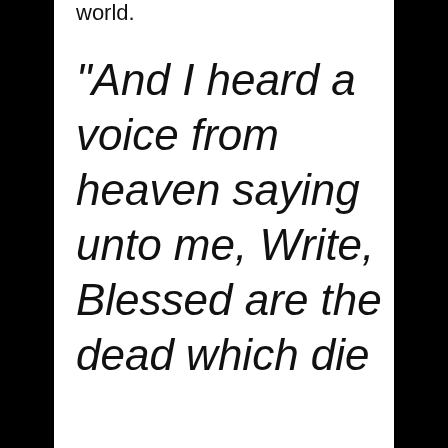world.
“And I heard a voice from heaven saying unto me, Write, Blessed are the dead which die